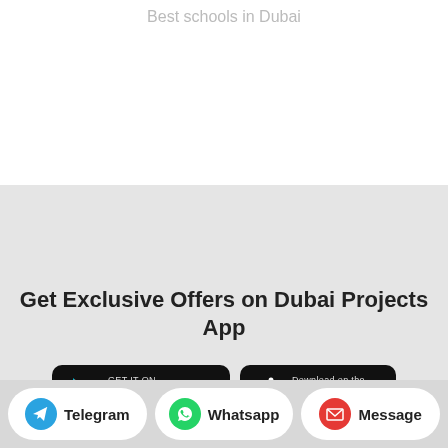Best schools in Dubai
Get Exclusive Offers on Dubai Projects App
[Figure (logo): Google Play store button - black rounded rectangle with Google Play logo and text 'GET IT ON Google Play']
[Figure (logo): Apple App Store button - black rounded rectangle with Apple logo and text 'Download on the App Store']
Telegram
Whatsapp
Message